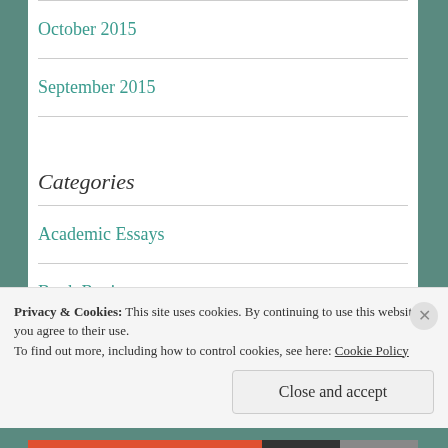October 2015
September 2015
Categories
Academic Essays
Book Reviews
Cyranny
Privacy & Cookies: This site uses cookies. By continuing to use this website, you agree to their use.
To find out more, including how to control cookies, see here: Cookie Policy
Close and accept